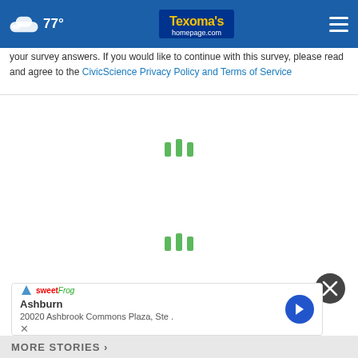77° Texoma's homepage.com
your survey answers. If you would like to continue with this survey, please read and agree to the CivicScience Privacy Policy and Terms of Service
[Figure (other): Loading spinner animation — three green vertical bars]
[Figure (other): Loading spinner animation — three green vertical bars]
[Figure (other): Close button (dark circle with X) and advertisement banner showing Ashburn 20020 Ashbrook Commons Plaza, Ste. with SweetFrog logo and navigation arrow]
MORE STORIES >